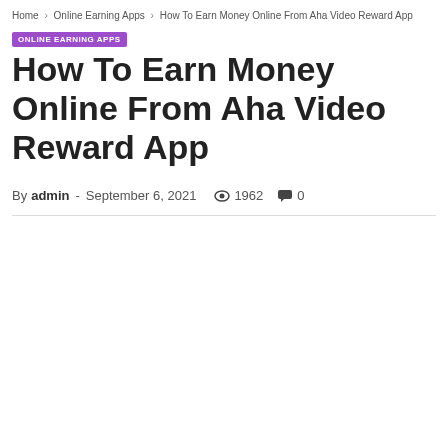Home › Online Earning Apps › How To Earn Money Online From Aha Video Reward App
ONLINE EARNING APPS
How To Earn Money Online From Aha Video Reward App
By admin - September 6, 2021  👁 1962  💬 0